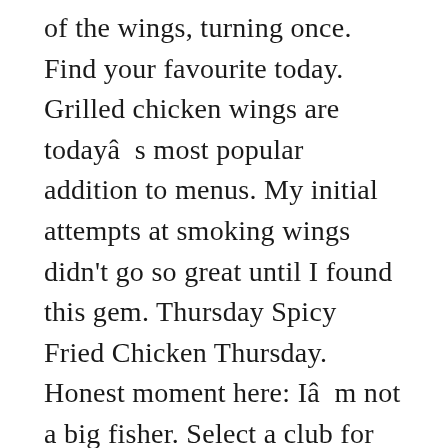of the wings, turning once. Find your favourite today. Grilled chicken wings are todayâs most popular addition to menus. My initial attempts at smoking wings didn't go so great until I found this gem. Thursday Spicy Fried Chicken Thursday. Honest moment here: Iâm not a big fisher. Select a club for price and availability. £7.50. 3. Tyson Applewood Smoked Wings, Bone In, Frozen (4lbs.) Award Winning Buffalo Wings and 19 different mouth watering flavors & Sauces to tantalize your taste buds! ; Total 18 hours, 45 min. HICKORY BURGER 10.99. Smoked Chicken Wings - Wings that are brined then rubbed with Slaps BBQ Perfect Blend Rub - smoked in hickory - fried